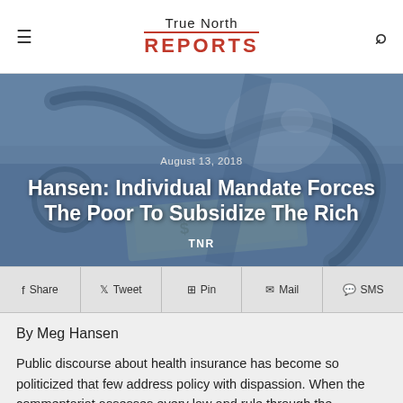True North REPORTS
[Figure (photo): Hero image with stethoscope, dollar bills, piggy bank on blue-tinted background. Overlay text shows date, article title, and TNR byline.]
Hansen: Individual Mandate Forces The Poor To Subsidize The Rich
August 13, 2018
TNR
Share  Tweet  Pin  Mail  SMS
By Meg Hansen
Public discourse about health insurance has become so politicized that few address policy with dispassion. When the commentariat assesses every law and rule through the